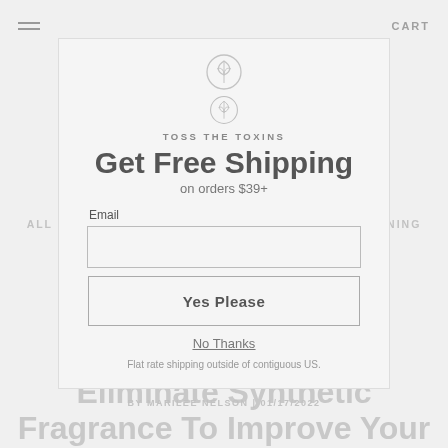[Figure (logo): Leaf/botanical logo icon, two versions stacked]
TOSS THE TOXINS
Get Free Shipping
on orders $39+
Email
Yes Please
No Thanks
Flat rate shipping outside of contiguous US.